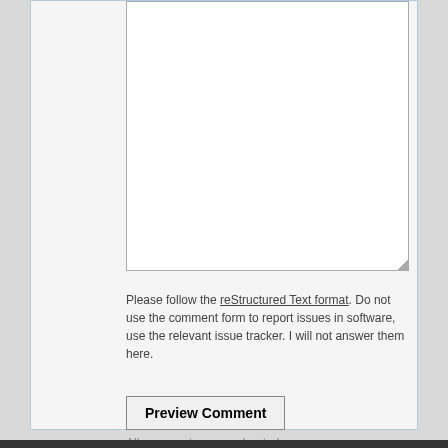[Figure (screenshot): A large empty white textarea input box with a resize handle in the bottom-right corner]
Please follow the reStructured Text format. Do not use the comment form to report issues in software, use the relevant issue tracker. I will not answer them here.
Preview Comment
All comments are moderated